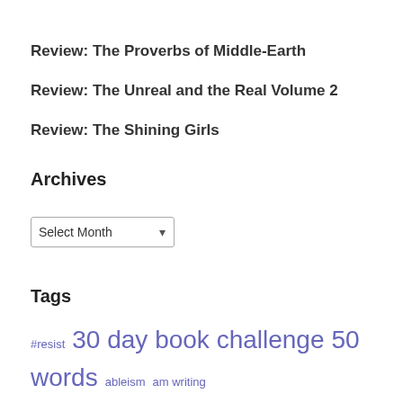Review: The Proverbs of Middle-Earth
Review: The Unreal and the Real Volume 2
Review: The Shining Girls
Archives
Select Month
Tags
#resist 30 day book challenge 50 words ableism am writing animals Arthuriana blogging 101 book reviews etc Christ…